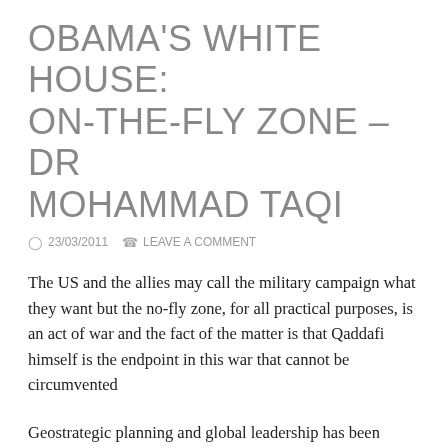OBAMA'S WHITE HOUSE: ON-THE-FLY ZONE – DR MOHAMMAD TAQI
23/03/2011   LEAVE A COMMENT
The US and the allies may call the military campaign what they want but the no-fly zone, for all practical purposes, is an act of war and the fact of the matter is that Qaddafi himself is the endpoint in this war that cannot be circumvented
Geostrategic planning and global leadership has been likened by the old grandmasters of US foreign policy to a grand chessboard, where the strategy is contemplated several moves in advance, with an eye on the endgame. But the knee-jerk responses of Barack Obama's administration to the rapidly unravelling situation in the Middle East and North Africa give an impression that he and his team are playing chequers, albeit